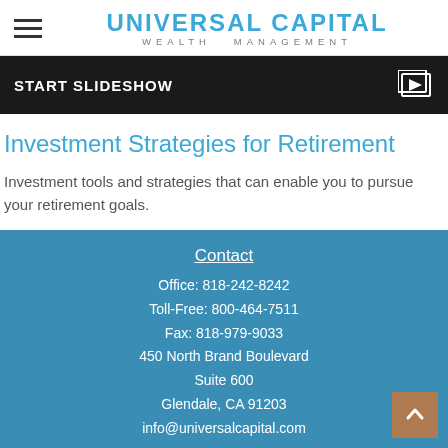Universal Capital Wealth Management
[Figure (screenshot): Dark slideshow banner with 'START SLIDESHOW' text and a video/slideshow icon on the right]
Investment Strategies for Retirement
Investment tools and strategies that can enable you to pursue your retirement goals.
Contact
Office: 818-242-8242
Toll-Free: 800-464-7511
Fax: 818-979-9033
450 North Brand Boulevard
Suite 600
Glendale, CA 91203
info@universalcapital.com